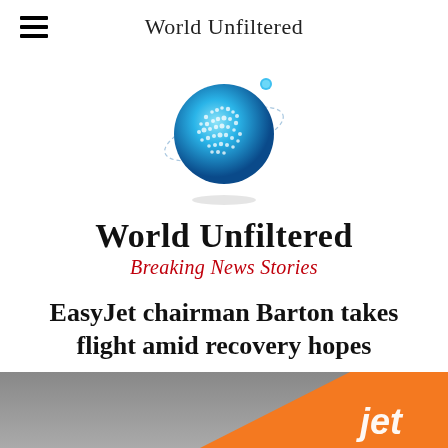World Unfiltered
[Figure (logo): World Unfiltered globe logo — blue digital globe with dotted orbital ring and small blue satellite dot]
World Unfiltered
Breaking News Stories
EasyJet chairman Barton takes flight amid recovery hopes
May 15, 2021
[Figure (photo): Bottom portion of page showing an easyJet aircraft tail fin with orange livery and 'jet' text, against a grey sky background]